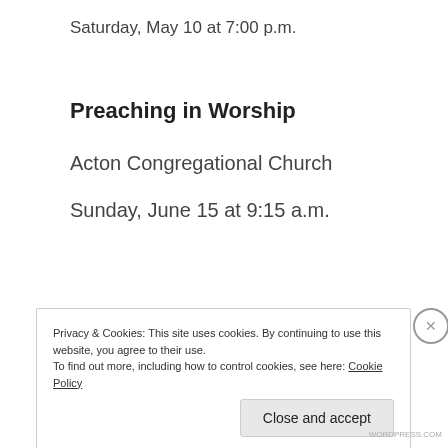Saturday, May 10 at 7:00 p.m.
Preaching in Worship
Acton Congregational Church
Sunday, June 15 at 9:15 a.m.
Privacy & Cookies: This site uses cookies. By continuing to use this website, you agree to their use.
To find out more, including how to control cookies, see here: Cookie Policy
Close and accept